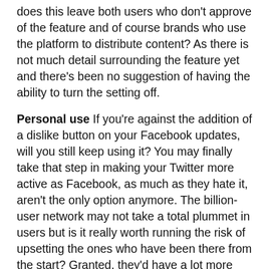does this leave both users who don't approve of the feature and of course brands who use the platform to distribute content? As there is not much detail surrounding the feature yet and there's been no suggestion of having the ability to turn the setting off.
Personal use If you're against the addition of a dislike button on your Facebook updates, will you still keep using it? You may finally take that step in making your Twitter more active as Facebook, as much as they hate it, aren't the only option anymore. The billion-user network may not take a total plummet in users but is it really worth running the risk of upsetting the ones who have been there from the start? Granted, they'd have a lot more complaints on their hands when Facebook Frank gets upset with his 4 dislikes on a selfie with his beloved pug...
Brands This feature won't just cause complications (and potential disputes on personal accounts...), it will have a negative effect on brands too. With the huge following